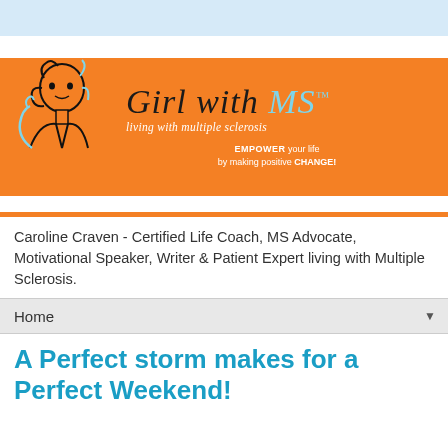[Figure (logo): Girl with MS logo banner — orange background with illustrated woman figure and script text 'Girl with MS — living with multiple sclerosis' and tagline 'EMPOWER your life by making positive CHANGE!']
Caroline Craven - Certified Life Coach, MS Advocate, Motivational Speaker, Writer & Patient Expert living with Multiple Sclerosis.
Home
A Perfect storm makes for a Perfect Weekend!